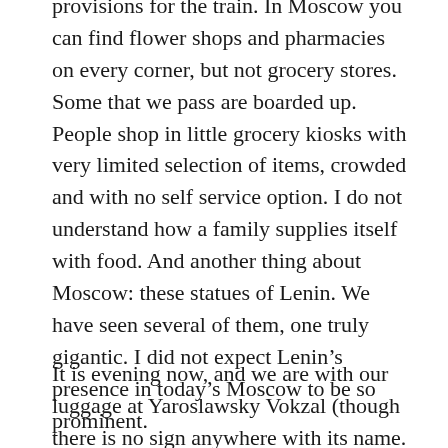provisions for the train. In Moscow you can find flower shops and pharmacies on every corner, but not grocery stores. Some that we pass are boarded up. People shop in little grocery kiosks with very limited selection of items, crowded and with no self service option. I do not understand how a family supplies itself with food. And another thing about Moscow: these statues of Lenin. We have seen several of them, one truly gigantic. I did not expect Lenin’s presence in today’s Moscow to be so prominent.
It is evening now, and we are with our luggage at Yaroslawsky Vokzal (though there is no sign anywhere with its name. We just know from